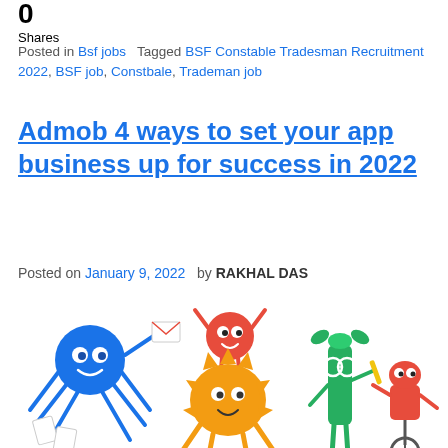0 Shares
Posted in Bsf jobs   Tagged BSF Constable Tradesman Recruitment 2022, BSF job, Constbale, Trademan job
Admob 4 ways to set your app business up for success in 2022
Posted on January 9, 2022   by RAKHAL DAS
[Figure (illustration): Cartoon monster/creature characters including a blue spider-like creature, a red round creature with arms raised, an orange spiky creature, a tall green pencil-like character, and a red robot-like character on a unicycle]